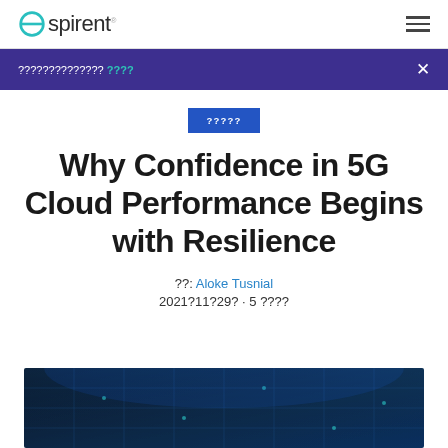Spirent (logo)
?????????????? ???? ×
?????
Why Confidence in 5G Cloud Performance Begins with Resilience
??: Aloke Tusnial
2021?11?29? · 5 ????
[Figure (photo): Dark blue technology background with glowing circuit board or data visualization imagery]